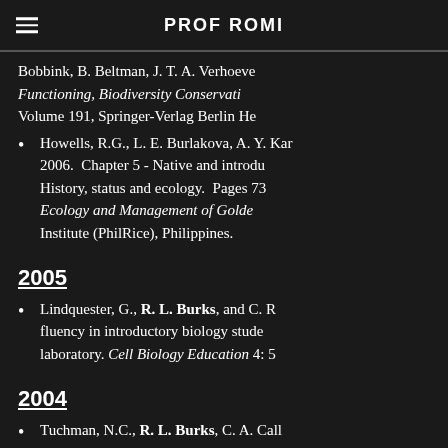PROF ROMI
Bobbink, B. Beltman, J. T. A. Verhoeve... Functioning, Biodiversity Conservati... Volume 191, Springer-Verlag Berlin He...
Howells, R.G., L. E. Burlakova, A. Y. Kar... 2006. Chapter 5 - Native and introdu... History, status and ecology. Pages 73... Ecology and Management of Golde... Institute (PhilRice), Philippines.
2005
Lindquester, G., R. L. Burks, and C. R... fluency in introductory biology stude... laboratory. Cell Biology Education 4: 5...
2004
Tuchman, N.C., R. L. Burks, C. A. Call...